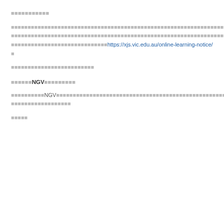■■■■■■■■■■■
■■■■■■■■■■■■■■■■■■■■■■■■■■■■■■■■■■■■■■■■■■■■■■■■■■■■■■■■■■■■■■■■■■■■■■■■■■■■■■■■■■■■■■■■■■■■■■8■5■■■8■■■■■■■■■■■■■■■■■■■■■■■■■■■■■■■■■■■■■■■■■■■■■■■■■■■■■■■■■■■■■■■■■■■■■■■■■■■■■■https://xjs.vic.edu.au/online-learning-notice/■
■■■■■■■■■■■■■■■■■■■■■■■■■
■■■■■■NGV■■■■■■■■■
■■■■■■■■■■NGV■■■■■■■■■■■■■■■■■■■■■■■■■■■■■■■■■■■■■■■■■■■■■■■■■■NGV■■■■■■■■■■■■■■■■■■■■■■■■■■■■■■NGV■■■■■■■■■■■■■■■■■■■■■■■■■■■■■■■■■■■■■■■■■■■■■■■
■■■■■